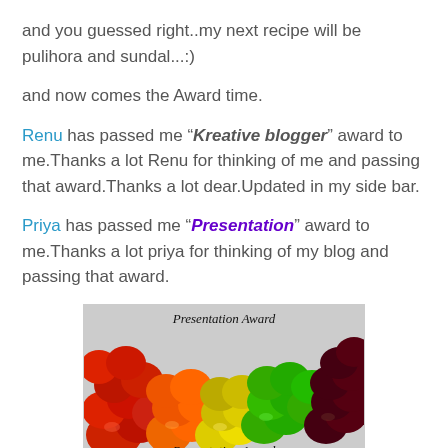and you guessed right..my next recipe will be pulihora and sundal...:)
and now comes the Award time.
Renu has passed me "Kreative blogger" award to me.Thanks a lot Renu for thinking of me and passing that award.Thanks a lot dear.Updated in my side bar.
Priya has passed me "Presentation" award to me.Thanks a lot priya for thinking of my blog and passing that award.
[Figure (photo): Photo of colorful candy pieces (red, orange, yellow, green, dark brown/maroon) arranged in a rainbow-like pattern, labeled 'Presentation Award' at top and bottom.]